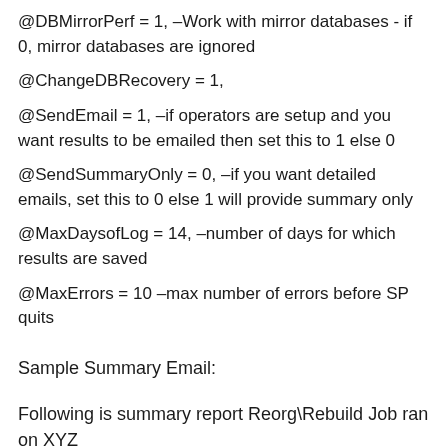@DBMirrorPerf = 1, –Work with mirror databases - if 0, mirror databases are ignored
@ChangeDBRecovery = 1,
@SendEmail = 1, –if operators are setup and you want results to be emailed then set this to 1 else 0
@SendSummaryOnly = 0, –if you want detailed emails, set this to 0 else 1 will provide summary only
@MaxDaysofLog = 14, –number of days for which results are saved
@MaxErrors = 10 –max number of errors before SP quits
Sample Summary Email:
Following is summary report Reorg\Rebuild Job ran on XYZ
Database: AdventureWorks
Status: Ok